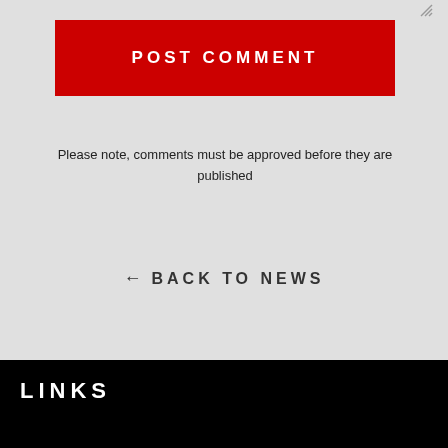POST COMMENT
Please note, comments must be approved before they are published
← BACK TO NEWS
LINKS